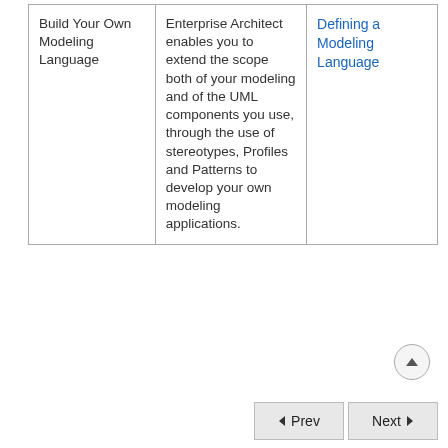| Build Your Own Modeling Language | Enterprise Architect enables you to extend the scope both of your modeling and of the UML components you use, through the use of stereotypes, Profiles and Patterns to develop your own modeling applications. | Defining a Modeling Language |